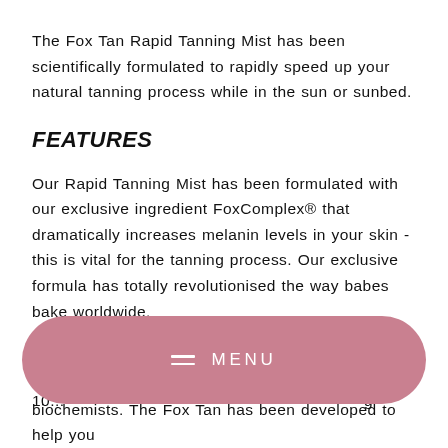The Fox Tan Rapid Tanning Mist has been scientifically formulated to rapidly speed up your natural tanning process while in the sun or sunbed.
FEATURES
Our Rapid Tanning Mist has been formulated with our exclusive ingredient FoxComplex® that dramatically increases melanin levels in your skin - this is vital for the tanning process. Our exclusive formula has totally revolutionised the way babes bake worldwide.
BENEFITS
[Figure (other): Pink rounded pill-shaped menu button overlay with hamburger icon lines and MENU text in white letters]
10...                                                   g
biochemists. The Fox Tan has been developed to help you